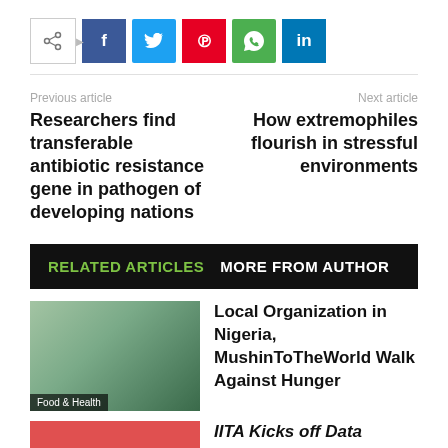[Figure (screenshot): Social share bar with share button, Facebook, Twitter, Pinterest, WhatsApp, and LinkedIn buttons]
Previous article
Next article
Researchers find transferable antibiotic resistance gene in pathogen of developing nations
How extremophiles flourish in stressful environments
RELATED ARTICLES   MORE FROM AUTHOR
[Figure (photo): Food and Health article thumbnail image]
Local Organization in Nigeria, MushinToTheWorld Walk Against Hunger
[Figure (photo): Second article thumbnail, red/orange colored image (partially visible)]